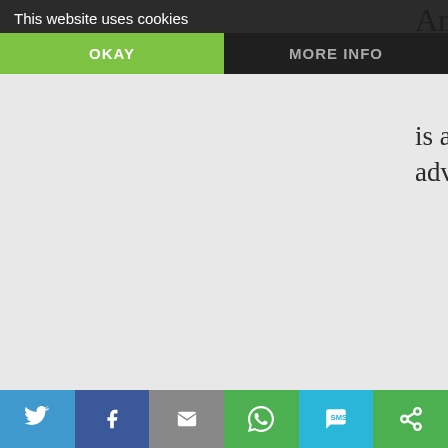[Figure (screenshot): Cookie consent banner overlay with dark background. Text: 'This website uses cookies'. Two buttons: 'OKAY' (green) and 'MORE INFO' (dark).]
Antichrist.
is all the more so in the Holy Roman Empire, with the advent of Christendom, Where Christian kingdoms reign.
But now look. Ever since world war I, traditional Christian monarchies, those elements which collectively could restrain the appearance of the Antichrist, they have all been shattered. Consider also the Title of Archbishop Lefebvre's book
[Figure (infographic): Social sharing bar at the bottom with icons for Twitter, Facebook, Email, WhatsApp, SMS, and a share icon.]